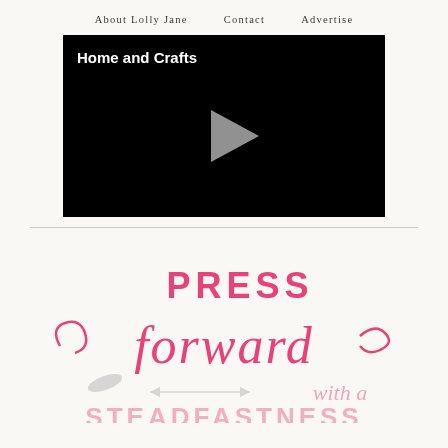About Lolly Jane   Contact   Advertise
[Figure (screenshot): Black video player thumbnail with title 'Home and Crafts' in white text at top left, and a gray play button triangle in the center]
[Figure (illustration): Decorative script lettering in pink reading 'PRESS forward' with curling flourishes, and below partially visible 'with a' in script and 'STEADFASTNESS' in block letters, with a feather and arrow watermark graphic]